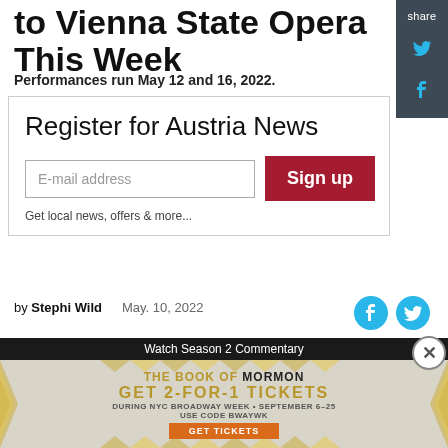to Vienna State Opera This Week
Performances run May 12 and 16, 2022.
[Figure (other): Newsletter signup box: Register for Austria News with email input and Sign up button. Get local news, offers & more...]
by Stephi Wild    May. 10, 2022
[Figure (other): Advertisement: The Book of Mormon — Get 2-for-1 tickets during NYC Broadway Week September 6-25, use code BWAYWK. Get Tickets.]
Watch Season 2 Commentary